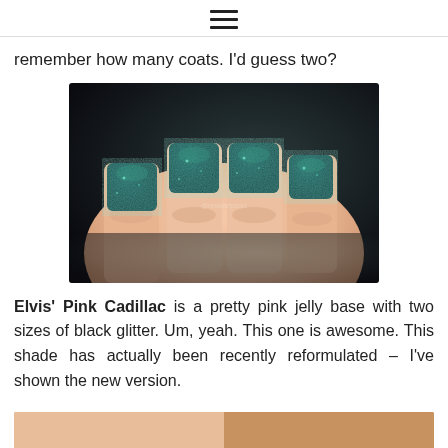≡ (hamburger menu icon)
remember how many coats. I'd guess two?
[Figure (photo): Close-up photograph of a hand with four fingers showing nails painted in a deep teal/dark green glitter nail polish, shot against a dark background.]
Elvis' Pink Cadillac is a pretty pink jelly base with two sizes of black glitter. Um, yeah. This one is awesome. This shade has actually been recently reformulated – I've shown the new version.